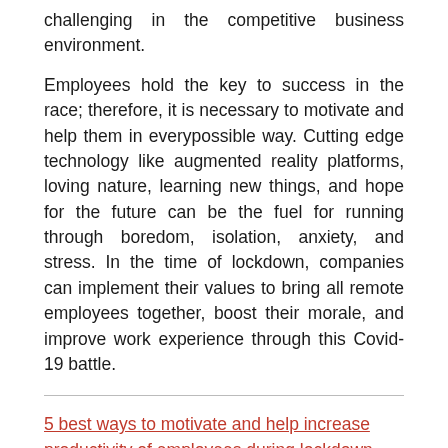challenging in the competitive business environment.
Employees hold the key to success in the race; therefore, it is necessary to motivate and help them in everypossible way. Cutting edge technology like augmented reality platforms, loving nature, learning new things, and hope for the future can be the fuel for running through boredom, isolation, anxiety, and stress. In the time of lockdown, companies can implement their values to bring all remote employees together, boost their morale, and improve work experience through this Covid-19 battle.
5 best ways to motivate and help increase productivity of employees during lockdown Article by Amit Aggarwal Co-Founder and Director of Effectual Services.